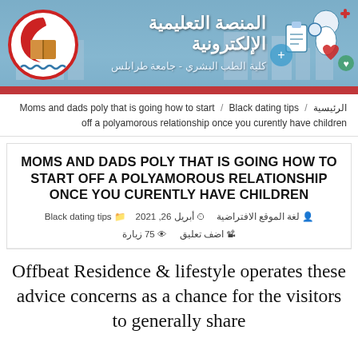[Figure (logo): Header banner for Al-Manassa Al-Taleemia Al-Electronia (Electronic Educational Platform), Faculty of Human Medicine, University of Tripoli. Features Arabic text, a logo with a red crescent and book, city skyline background, and medical icons on the right.]
الرئيسية / Moms and dads poly that is going how to start / Black dating tips off a polyamorous relationship once you curently have children
MOMS AND DADS POLY THAT IS GOING HOW TO START OFF A POLYAMOROUS RELATIONSHIP ONCE YOU CURENTLY HAVE CHILDREN
لغة الموقع الافتراضية  أبريل 26, 2021  Black dating tips  اضف تعليق  75 زيارة
Offbeat Residence & lifestyle operates these advice concerns as a chance for the visitors to generally share